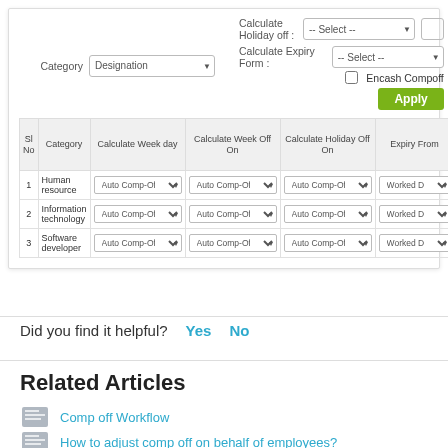[Figure (screenshot): HR software form showing Category dropdown set to Designation, Calculate Holiday off and Calculate Expiry Form dropdowns (Select), Encash Compoff checkbox, Apply button, and a data table with columns Sl No, Category, Calculate Week day, Calculate Week Off On, Calculate Holiday Off On, Expiry From, Week Day Expiry in Days, Week Off Expiry in Days, Holiday-Off Expiry in Days. Three rows: 1-Human resource, 2-Information technology, 3-Software developer, all with Auto Comp-Off dropdowns and Worked Date dropdowns.]
Did you find it helpful?  Yes  No
Related Articles
Comp off Workflow
How to adjust comp off on behalf of employees?